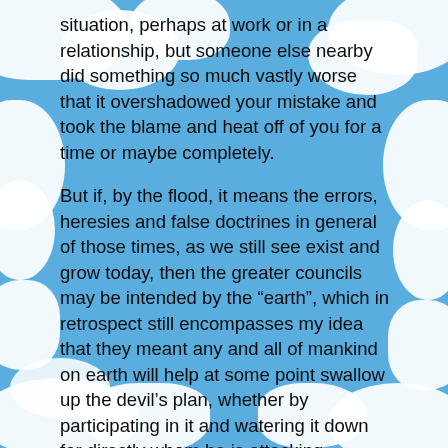situation, perhaps at work or in a relationship, but someone else nearby did something so much vastly worse that it overshadowed your mistake and took the blame and heat off of you for a time or maybe completely.
But if, by the flood, it means the errors, heresies and false doctrines in general of those times, as we still see exist and grow today, then the greater councils may be intended by the “earth”, which in retrospect still encompasses my idea that they meant any and all of mankind on earth will help at some point swallow up the devil’s plan, whether by participating in it and watering it down for directly whom he is attacking, possibly creating an innumerable amount of side situations and distractions such as what happened with the Romans persecuting the Arians, or by standing